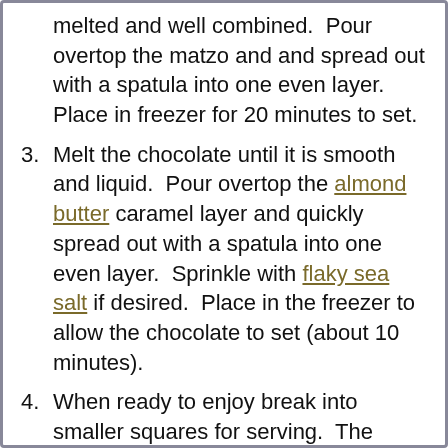melted and well combined. Pour overtop the matzo and and spread out with a spatula into one even layer. Place in freezer for 20 minutes to set.
3. Melt the chocolate until it is smooth and liquid. Pour overtop the almond butter caramel layer and quickly spread out with a spatula into one even layer. Sprinkle with flaky sea salt if desired. Place in the freezer to allow the chocolate to set (about 10 minutes).
4. When ready to enjoy break into smaller squares for serving. The center layer will start to melt at room temperature after about 30 minutes so return to the freezer if not serving immediately.